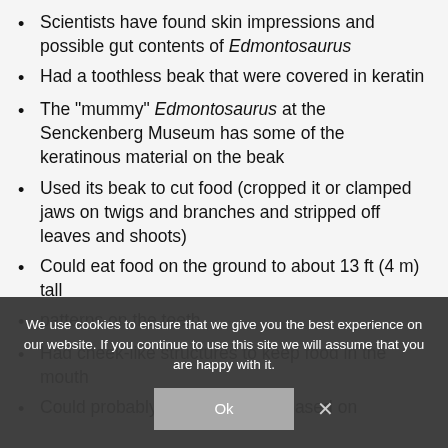Scientists have found skin impressions and possible gut contents of Edmontosaurus
Had a toothless beak that were covered in keratin
The “mummy” Edmontosaurus at the Senckenberg Museum has some of the keratinous material on the beak
Used its beak to cut food (cropped it or clamped jaws on twigs and branches and stripped off leaves and shoots)
Could eat food on the ground to about 13 ft (4 m) tall
patterns on the teeth (partially obscured)
Had cheek-like structures to keep food in the mouth
Could probably slice and grind, based on tooth structure (partially cut off)
We use cookies to ensure that we give you the best experience on our website. If you continue to use this site we will assume that you are happy with it.